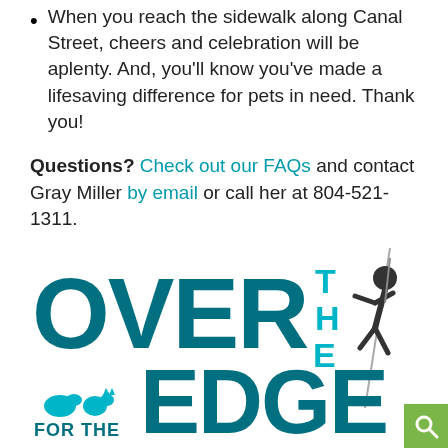When you reach the sidewalk along Canal Street, cheers and celebration will be aplenty. And, you'll know you've made a lifesaving difference for pets in need. Thank you!
Questions? Check out our FAQs and contact Gray Miller by email or call her at 804-521-1311.
[Figure (logo): Over The Edge For The Richmond SPCA logo with rappelling figure silhouette and teal/dark teal color scheme]